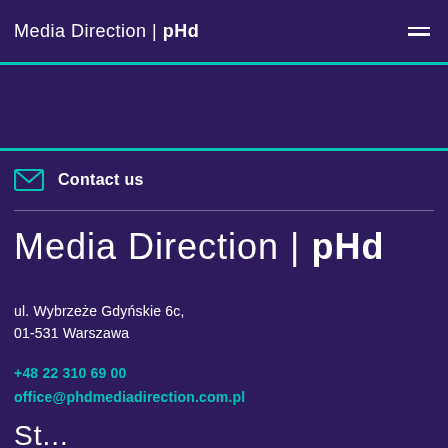Media Direction | pHd
Contact us
Media Direction | pHd
ul. Wybrzeże Gdyńskie 6c,
01-531 Warszawa
+48 22 310 69 00
office@phdmediadirection.com.pl